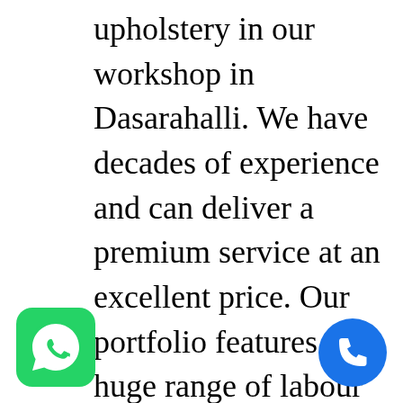upholstery in our workshop in Dasarahalli. We have decades of experience and can deliver a premium service at an excellent price. Our portfolio features a huge range of labour examples that we have undertaken in recent months. Sofa Reupholstery Work in Dasarahalli take upholstery work for Dasarahalli areas and nearby locations in Bangalore.
[Figure (logo): WhatsApp logo green rounded square button in bottom left corner]
[Figure (logo): Blue circular phone call button in bottom right corner]